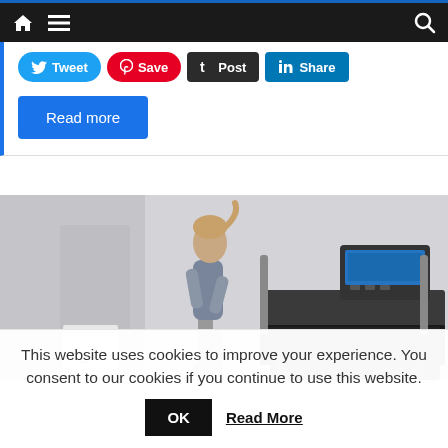Navigation bar with home, menu, and search icons
[Figure (screenshot): Social share buttons: Tweet (Twitter/blue), Save (Pinterest/red), Post (Tumblr/dark), Share (LinkedIn/blue)]
Read more
[Figure (photo): Woman running on a treadmill in a gym/home setting. Treadmill has a digital display console. Background shows a plain wall.]
This website uses cookies to improve your experience. You consent to our cookies if you continue to use this website.
OK  Read More